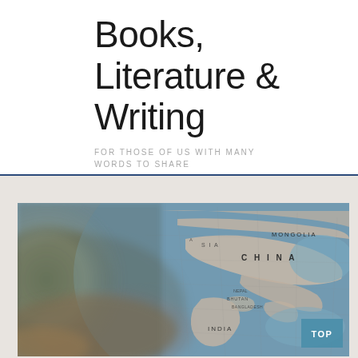Books, Literature & Writing
FOR THOSE OF US WITH MANY WORDS TO SHARE
[Figure (photo): Close-up photograph of a globe showing Asia, with countries including China, Mongolia, India, Bhutan, Bangladesh visible. The globe is in sharp focus on the right side showing detailed map labels, and blurred/bokeh on the left side showing the curved horizon of the globe. A teal/blue 'TOP' badge is visible in the lower right corner of the image.]